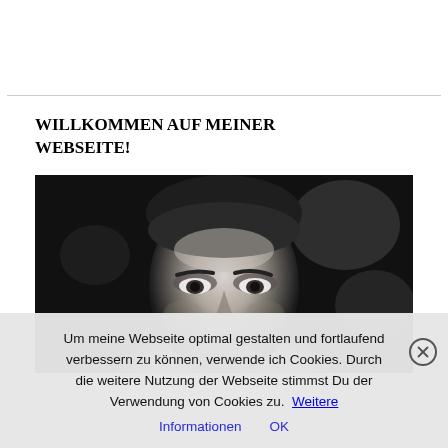WILLKOMMEN AUF MEINER WEBSEITE!
[Figure (photo): Black and white close-up photo of a young man's face with very short hair, looking directly at camera, dark bokeh background.]
Um meine Webseite optimal gestalten und fortlaufend verbessern zu können, verwende ich Cookies. Durch die weitere Nutzung der Webseite stimmst Du der Verwendung von Cookies zu. Weitere Informationen OK